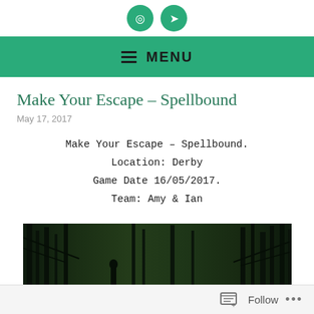[Figure (other): Green circle social media icons at top of page]
≡ MENU
Make Your Escape – Spellbound
May 17, 2017
Make Your Escape – Spellbound.
Location: Derby
Game Date 16/05/2017.
Team: Amy & Ian
[Figure (photo): Dark atmospheric forest scene with a figure and light glow at bottom left, dark trees against a night sky]
Follow ...